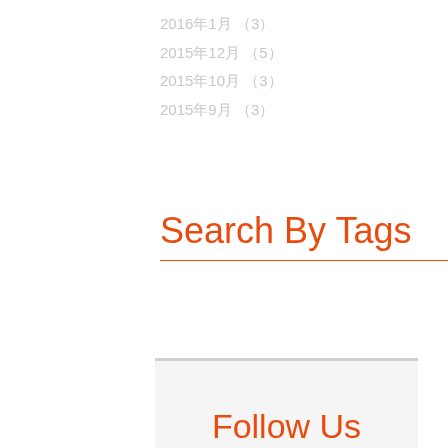2016年1月 （3）
2015年12月 （5）
2015年10月 （3）
2015年9月 （3）
Search By Tags
Follow Us